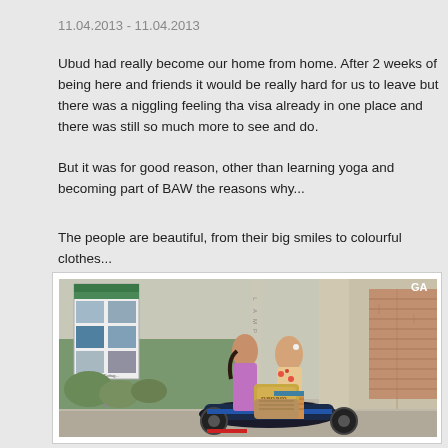11.04.2013 - 11.04.2013
Ubud had really become our home from home. After 2 weeks of being here and friends it would be really hard for us to leave but there was a niggling feeling tha visa already in one place and there was still so much more to see and do.
But it was for good reason, other than learning yoga and becoming part of BAW the reasons why...
The people are beautiful, from their big smiles to colourful clothes...
[Figure (photo): Two women in traditional Balinese colorful clothing riding a scooter/motorcycle on a street in Ubud, Bali. A sign board with accommodation photos is visible on the left, a concrete pillar and brick wall in the background.]